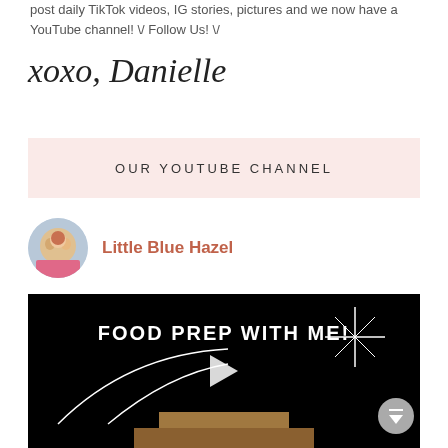post daily TikTok videos, IG stories, pictures and we now have a YouTube channel! \/ Follow Us! \/
xoxo, Danielle
OUR YOUTUBE CHANNEL
[Figure (logo): Circular avatar showing group photo of women/girls in pink clothing]
Little Blue Hazel
[Figure (screenshot): YouTube video thumbnail with black background, white text reading FOOD PREP WITH ME! with sparkle decoration, a swoosh design element, and a play button in center. Kitchen cabinetry visible at bottom.]